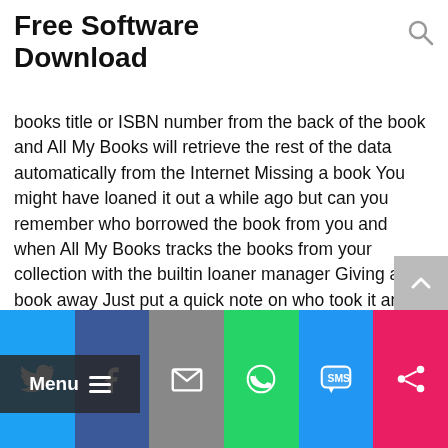Free Software Download
books title or ISBN number from the back of the book and All My Books will retrieve the rest of the data automatically from the Internet Missing a book You might have loaned it out a while ago but can you remember who borrowed the book from you and when All My Books tracks the books from your collection with the builtin loaner manager Giving a book away Just put a quick note on who took it and All My Books will record the date automatically Even better All My Books will remind you of that book when the time comes With the loaner manager youll be able to stay tuned on who took your books and when You will never lose a loaned book again Do you have your collection organized elsewhere All My Books imports and exports book databases in Excel and CSV format making data entry into and out of All My Books a snap All My Books can deal with usual printed books as well as